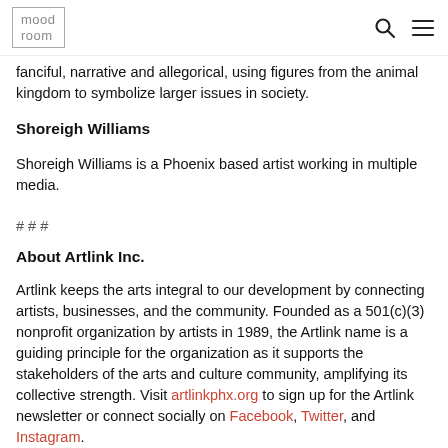mood room [logo] [search icon] [menu icon]
fanciful, narrative and allegorical, using figures from the animal kingdom to symbolize larger issues in society.
Shoreigh Williams
Shoreigh Williams is a Phoenix based artist working in multiple media.
# # #
About Artlink Inc.
Artlink keeps the arts integral to our development by connecting artists, businesses, and the community. Founded as a 501(c)(3) nonprofit organization by artists in 1989, the Artlink name is a guiding principle for the organization as it supports the stakeholders of the arts and culture community, amplifying its collective strength. Visit artlinkphx.org to sign up for the Artlink newsletter or connect socially on Facebook, Twitter, and Instagram.